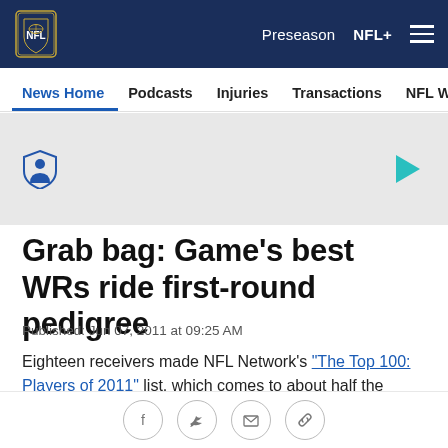NFL | Preseason | NFL+
News Home | Podcasts | Injuries | Transactions | NFL Writers | Se
[Figure (other): Advertisement banner with shield icon and play button on gray background]
Grab bag: Game's best WRs ride first-round pedigree
Published: Jun 07, 2011 at 09:25 AM
Eighteen receivers made NFL Network's "The Top 100: Players of 2011" list, which comes to about half the teams in the league being represented at the position
[Figure (other): Social sharing icons: Facebook, Twitter, Email, Link]